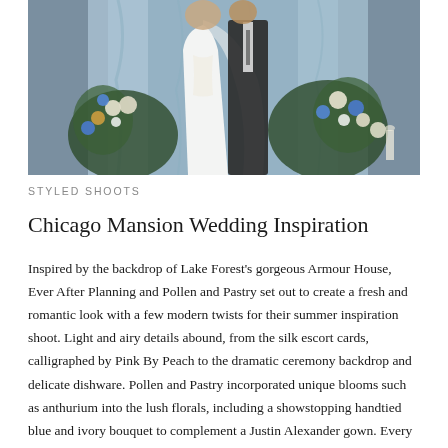[Figure (photo): Wedding photo showing bride in white lace gown and groom in dark suit standing in front of blue draped backdrop with floral arrangements of blue, white and green flowers]
STYLED SHOOTS
Chicago Mansion Wedding Inspiration
Inspired by the backdrop of Lake Forest's gorgeous Armour House, Ever After Planning and Pollen and Pastry set out to create a fresh and romantic look with a few modern twists for their summer inspiration shoot. Light and airy details abound, from the silk escort cards, calligraphed by Pink By Peach to the dramatic ceremony backdrop and delicate dishware. Pollen and Pastry incorporated unique blooms such as anthurium into the lush florals, including a showstopping handtied blue and ivory bouquet to complement a Justin Alexander gown. Every nuance was beautifully thought out, right down to the petite cakes adorned with macarons! We're loving all of the light-filled images from Lindsey Kay Photography!